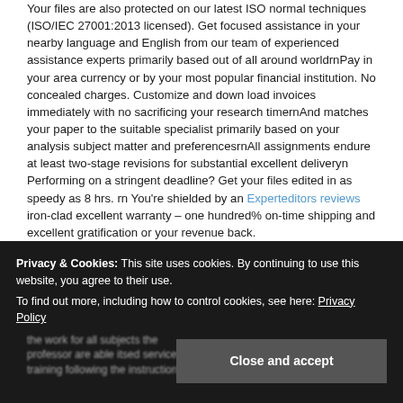Your files are also protected on our latest ISO normal techniques (ISO/IEC 27001:2013 licensed). Get focused assistance in your nearby language and English from our team of experienced assistance experts primarily based out of all around worldrnPay in your area currency or by your most popular financial institution. No concealed charges. Customize and down load invoices immediately with no sacrificing your research timernAnd matches your paper to the suitable specialist primarily based on your analysis subject matter and preferencesrnAll assignments endure at least two-stage revisions for substantial excellent deliveryn Performing on a stringent deadline? Get your files edited in as speedy as 8 hrs. rn You're shielded by an Experteditors reviews iron-clad excellent warranty – one hundred% on-time shipping and excellent gratification or your revenue back.
rn Get each individual concern about your assignment answered by the experts who labored on your manuscript. It is extra then I envisioned.
Privacy & Cookies: This site uses cookies. By continuing to use this website, you agree to their use. To find out more, including how to control cookies, see here: Privacy Policy
Close and accept